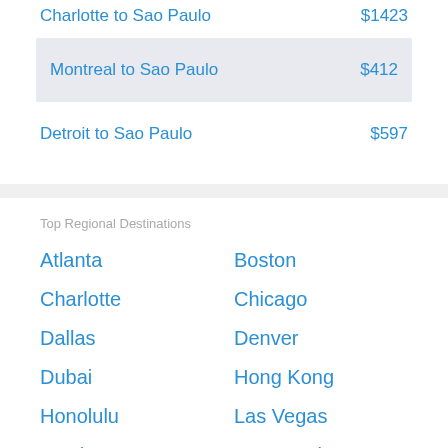Charlotte to Sao Paulo   $1423
Montreal to Sao Paulo   $412
Detroit to Sao Paulo   $597
Top Regional Destinations
Atlanta
Boston
Charlotte
Chicago
Dallas
Denver
Dubai
Hong Kong
Honolulu
Las Vegas
London
Los Angeles
Manila
Miami